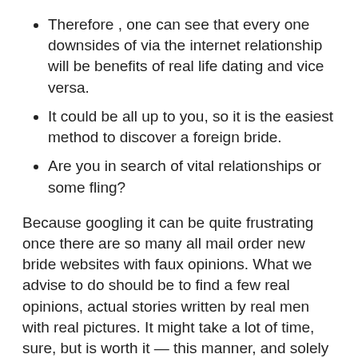Therefore , one can see that every one downsides of via the internet relationship will be benefits of real life dating and vice versa.
It could be all up to you, so it is the easiest method to discover a foreign bride.
Are you in search of vital relationships or some fling?
Because googling it can be quite frustrating once there are so many all mail order new bride websites with faux opinions. What we advise to do should be to find a few real opinions, actual stories written by real men with real pictures. It might take a lot of time, sure, but is worth it — this manner, and solely this fashion, you'll realize that this website may be worth your time and money. It's additionally important to examine the history of this site/agency. If it began years ago, it is very in all probability a good place. Many persons know that there are countries in which marriage companies